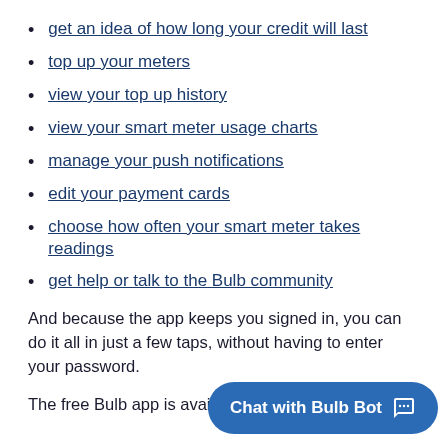get an idea of how long your credit will last
top up your meters
view your top up history
view your smart meter usage charts
manage your push notifications
edit your payment cards
choose how often your smart meter takes readings
get help or talk to the Bulb community
And because the app keeps you signed in, you can do it all in just a few taps, without having to enter your password.
The free Bulb app is available
[Figure (other): Chat with Bulb Bot button overlay]